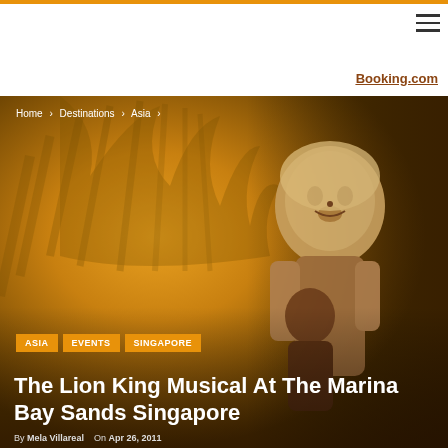Navigation bar with hamburger menu
Booking.com
Home › Destinations › Asia ›
[Figure (photo): The Lion King Musical promotional hero image showing performers in lion costumes on stage with a golden sunburst Lion King logo in the background]
ASIA
EVENTS
SINGAPORE
The Lion King Musical At The Marina Bay Sands Singapore
By Mela Villareal   On Apr 26, 2011